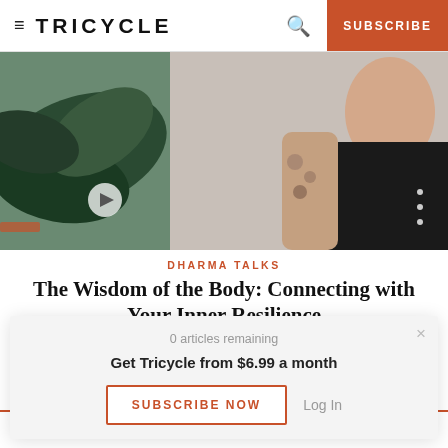≡ TRICYCLE | 🔍 | SUBSCRIBE
[Figure (photo): A person with tattoos wearing a black top, seated, with a large plant in the background. A video play button is visible in the lower left of the image.]
DHARMA TALKS
The Wisdom of the Body: Connecting with Your Inner Resilience
Kathy Cherry
0 articles remaining
Get Tricycle from $6.99 a month
SUBSCRIBE NOW   Log In
Learn to write Haiku